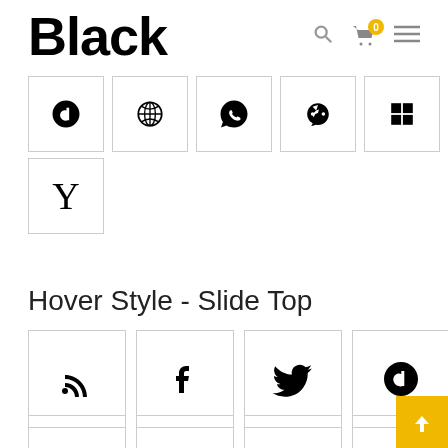Black
[Figure (illustration): Row of social media icon boxes: Vine, WordPress, WhatsApp, Renren, Windows]
[Figure (illustration): Single icon box: Y (Hacker News or similar)]
Hover Style - Slide Top
[Figure (illustration): Row of social media icon boxes: RSS, Facebook, Twitter, Vine]
[Figure (illustration): Row of social media icon boxes: YouTube, SoundCloud/bars, Android, Amazon]